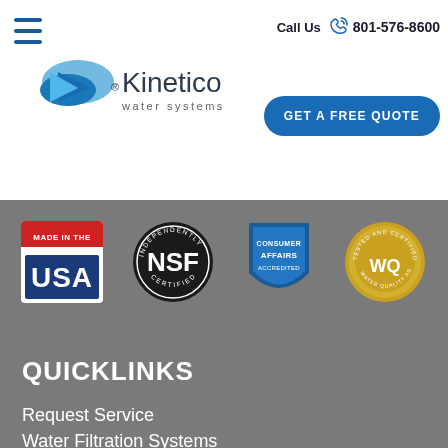[Figure (logo): Hamburger menu icon (three horizontal blue lines)]
Call Us  801-576-8600
[Figure (logo): Kinetico water systems logo with blue arrow/water shape and wordmark]
GET A FREE QUOTE
[Figure (infographic): Four certification/accreditation badges: Made in the USA, NSF Independently Certified, Consumer Affairs Accredited, Water Quality Tested and Certified]
QUICKLINKS
Request Service
Water Filtration Systems